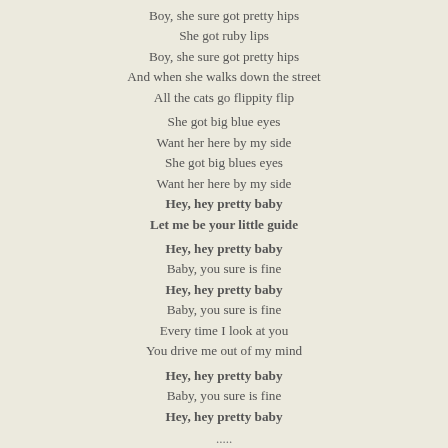Boy, she sure got pretty hips
She got ruby lips
Boy, she sure got pretty hips
And when she walks down the street
All the cats go flippity flip
She got big blue eyes
Want her here by my side
She got big blues eyes
Want her here by my side
Hey, hey pretty baby
Let me be your little guide
Hey, hey pretty baby
Baby, you sure is fine
Hey, hey pretty baby
Baby, you sure is fine
Every time I look at you
You drive me out of my mind
Hey, hey pretty baby
Baby, you sure is fine
Hey, hey pretty baby
.....
5 - YOU SEND ME
(Cooke)
Darling you,  send me